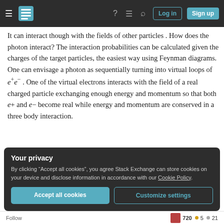Stack Exchange navigation bar with hamburger menu, logo, help, chat, search, Log in, Sign up
It can interact though with the fields of other particles . How does the photon interact? The interaction probabilities can be calculated given the charges of the target particles, the easiest way using Feynman diagrams. One can envisage a photon as sequentially turning into virtual loops of e+e− . One of the virtual electrons interacts with the field of a real charged particle exchanging enough energy and momentum so that both e+ and e− become real while energy and momentum are conserved in a three body interaction.
Your privacy
By clicking "Accept all cookies", you agree Stack Exchange can store cookies on your device and disclose information in accordance with our Cookie Policy.
Follow  720 ● 5 ● 21